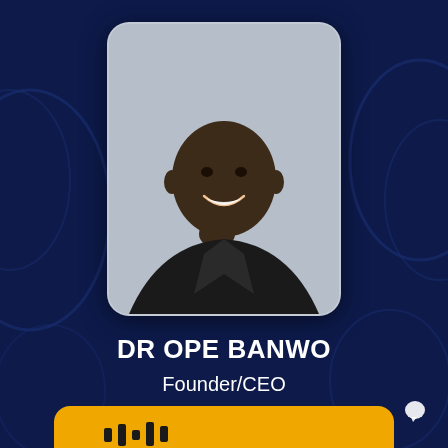[Figure (photo): Professional headshot of Dr Ope Banwo, a smiling man in a dark suit with his hand on his chin, against a light grey background, displayed in a rounded rectangle card.]
DR OPE BANWO
Founder/CEO